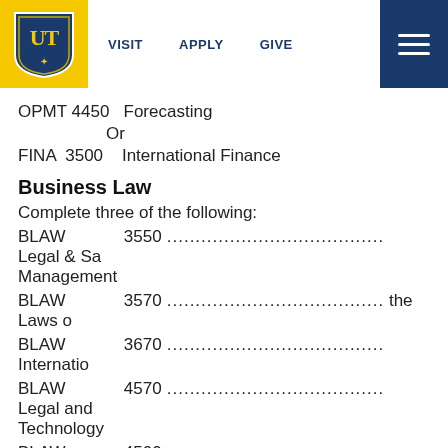[Figure (logo): University of Toledo shield logo on yellow background]
VISIT   APPLY   GIVE
OPMT 4450   Forecasting
Or
FINA  3500    International Finance
Business Law
Complete three of the following:
BLAW   3550........................................ Legal & Sa Management
BLAW   3570........................................ the Laws o
BLAW   3670........................................ Internatio
BLAW   4570........................................ Legal and Technology
BLAW   4500........................................ Protectio